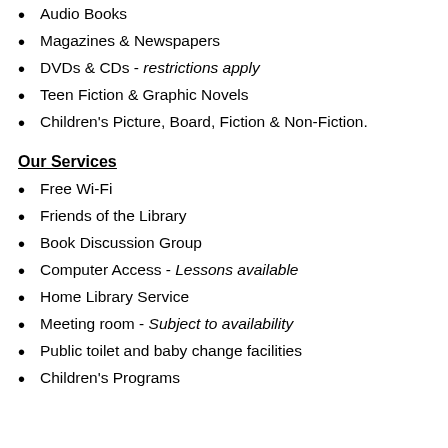Audio Books
Magazines & Newspapers
DVDs & CDs - restrictions apply
Teen Fiction & Graphic Novels
Children's Picture, Board, Fiction & Non-Fiction.
Our Services
Free Wi-Fi
Friends of the Library
Book Discussion Group
Computer Access - Lessons available
Home Library Service
Meeting room - Subject to availability
Public toilet and baby change facilities
Children's Programs